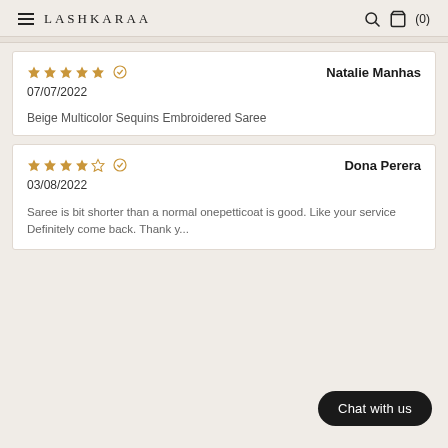LASHKARAA (0)
Natalie Manhas
07/07/2022
Beige Multicolor Sequins Embroidered Saree
Dona Perera
03/08/2022
Saree is bit shorter than a normal onepetticoat is good. Like your service Definitely come back. Thank y...
Chat with us